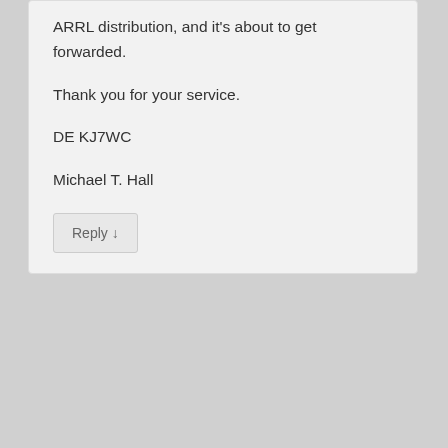ARRL distribution, and it's about to get forwarded.

Thank you for your service.

DE KJ7WC

Michael T. Hall
Reply ↓
[Figure (illustration): Robot character avatar — a dark olive-green cartoon robot figure with a round body, small arms, yellow feet, and white buttons/dots on torso]
Robert Mekinda on April 24, 2013 at 2:37 pm said:
Wonderful article and very insightful. Glad you and the other amateurs